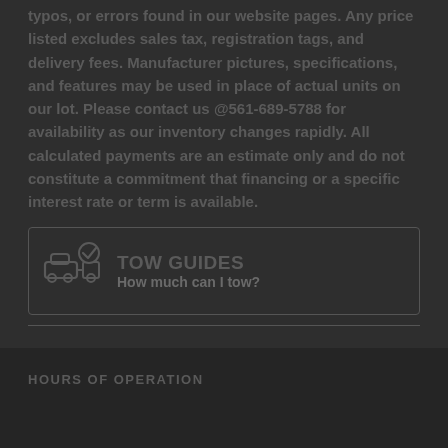typos, or errors found in our website pages. Any price listed excludes sales tax, registration tags, and delivery fees. Manufacturer pictures, specifications, and features may be used in place of actual units on our lot. Please contact us @561-689-5788 for availability as our inventory changes rapidly. All calculated payments are an estimate only and do not constitute a commitment that financing or a specific interest rate or term is available.
[Figure (illustration): Tow guides icon: a car with a trailer and checkmark badge]
TOW GUIDES
How much can I tow?
HOURS OF OPERATION